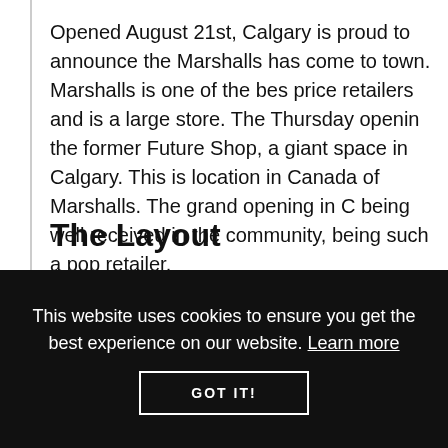Opened August 21st, Calgary is proud to announce the Marshalls has come to town. Marshalls is one of the best price retailers and is a large store. The Thursday opening the former Future Shop, a giant space in Calgary. This is location in Canada of Marshalls. The grand opening in C being well received in the community, being such a pop retailer.
The Layout
This website uses cookies to ensure you get the best experience on our website. Learn more